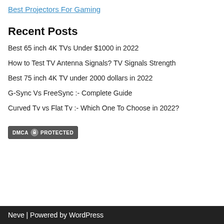Best Projectors For Gaming
Recent Posts
Best 65 inch 4K TVs Under $1000 in 2022
How to Test TV Antenna Signals? TV Signals Strength
Best 75 inch 4K TV under 2000 dollars in 2022
G-Sync Vs FreeSync :- Complete Guide
Curved Tv vs Flat Tv :- Which One To Choose in 2022?
[Figure (logo): DMCA Protected badge with lock icon]
Neve | Powered by WordPress